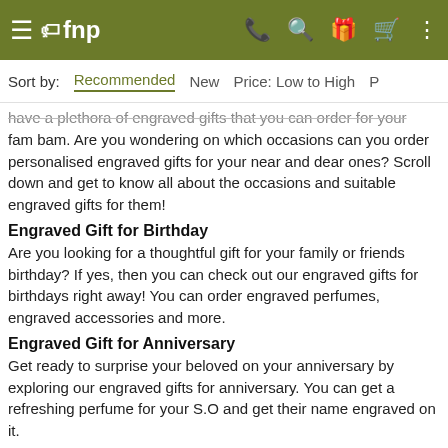fnp navigation bar with hamburger menu, phone, search, gift, cart, and more icons
Sort by: Recommended New Price: Low to High P...
have a plethora of engraved gifts that you can order for your fam bam. Are you wondering on which occasions can you order personalised engraved gifts for your near and dear ones? Scroll down and get to know all about the occasions and suitable engraved gifts for them!
Engraved Gift for Birthday
Are you looking for a thoughtful gift for your family or friends birthday? If yes, then you can check out our engraved gifts for birthdays right away! You can order engraved perfumes, engraved accessories and more.
Engraved Gift for Anniversary
Get ready to surprise your beloved on your anniversary by exploring our engraved gifts for anniversary. You can get a refreshing perfume for your S.O and get their name engraved on it.
Engraved Gift for Wedding